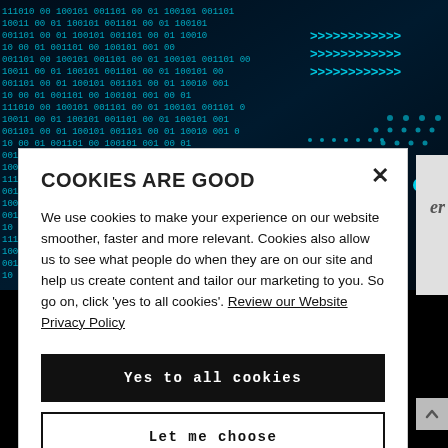[Figure (illustration): Dark background with cyan/teal binary code and digital data stream pattern, arrow symbols visible]
COOKIES ARE GOOD
We use cookies to make your experience on our website smoother, faster and more relevant. Cookies also allow us to see what people do when they are on our site and help us create content and tailor our marketing to you. So go on, click 'yes to all cookies'. Review our Website Privacy Policy
Yes to all cookies
Let me choose